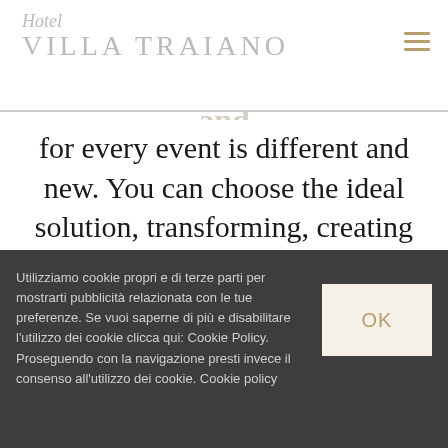Hotel Villa Traiano
for every event is different and new. You can choose the ideal solution, transforming, creating and customizing our spaces for your
Utilizziamo cookie propri e di terze parti per mostrarti pubblicità relazionata con le tue preferenze. Se vuoi saperne di più e disabilitare l'utilizzo dei cookie clicca qui: Cookie Policy. Proseguendo con la navigazione presti invece il consenso all'utilizzo dei cookie. Cookie policy